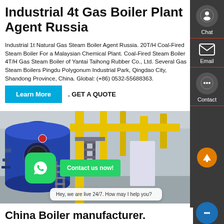Industrial 4t Gas Boiler Plant Agent Russia
Industrial 1t Natural Gas Steam Boiler Agent Russia. 20T/H Coal-Fired Steam Boiler For a Malaysian Chemical Plant. Coal-Fired Steam Boiler 4T/H Gas Steam Boiler of Yantai Taihong Rubber Co., Ltd. Several Gas Steam Boilers Pingdu Polygonum Industrial Park, Qingdao City, Shandong Province, China. Global: (+86) 0532-55688363. GET A QUOTE
[Figure (photo): Industrial gas boiler plant interior with blue boiler vessel, yellow pipes, steel structure, and industrial equipment]
China Boiler manufacturer.